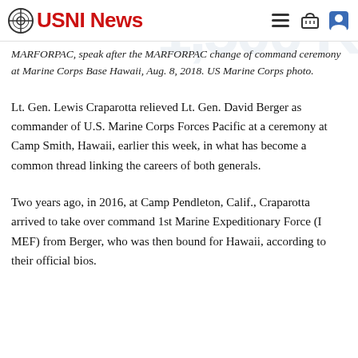USNI News
MARFORPAC, speak after the MARFORPAC change of command ceremony at Marine Corps Base Hawaii, Aug. 8, 2018. US Marine Corps photo.
Lt. Gen. Lewis Craparotta relieved Lt. Gen. David Berger as commander of U.S. Marine Corps Forces Pacific at a ceremony at Camp Smith, Hawaii, earlier this week, in what has become a common thread linking the careers of both generals.
Two years ago, in 2016, at Camp Pendleton, Calif., Craparotta arrived to take over command 1st Marine Expeditionary Force (I MEF) from Berger, who was then bound for Hawaii, according to their official bios.